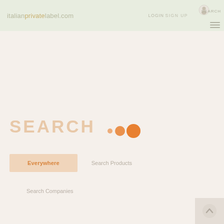italianprivarelabel.com | SIGN UP | LOGIN | SEARCH
SEARCH
Everywhere
Search Products
Search Companies
Enter your keywords